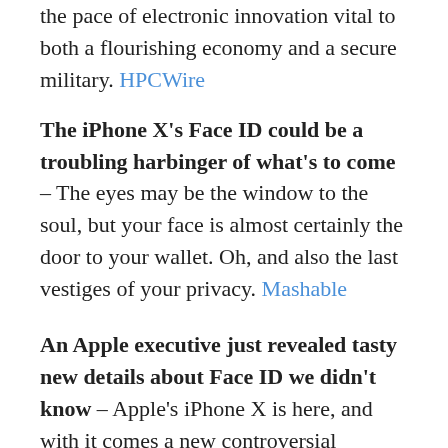the pace of electronic innovation vital to both a flourishing economy and a secure military. HPCWire
The iPhone X's Face ID could be a troubling harbinger of what's to come – The eyes may be the window to the soul, but your face is almost certainly the door to your wallet. Oh, and also the last vestiges of your privacy. Mashable
An Apple executive just revealed tasty new details about Face ID we didn't know – Apple's iPhone X is here, and with it comes a new controversial features: Face ID. Mashable
WhatsApp's unsend feature will soon let users delete shameful messages – Thanks to the numerous messaging apps available today, communicating with